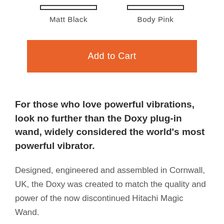Matt Black    Body Pink
Add to Cart
For those who love powerful vibrations, look no further than the Doxy plug-in wand, widely considered the world's most powerful vibrator.
Designed, engineered and assembled in Cornwall, UK, the Doxy was created to match the quality and power of the now discontinued Hitachi Magic Wand.
Made from aluminium and cast on-site, the weight